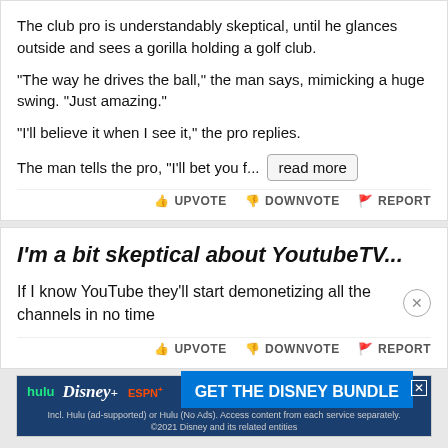The club pro is understandably skeptical, until he glances outside and sees a gorilla holding a golf club.

"The way he drives the ball," the man says, mimicking a huge swing. "Just amazing."

"I'll believe it when I see it," the pro replies.

The man tells the pro, "I'll bet you f...  [read more]
UPVOTE  DOWNVOTE  REPORT
I'm a bit skeptical about YoutubeTV...
If I know YouTube they'll start demonetizing all the channels in no time
UPVOTE  DOWNVOTE  REPORT
[Figure (screenshot): Disney Bundle advertisement banner showing Hulu, Disney+, ESPN+ logos with 'GET THE DISNEY BUNDLE' text and fine print]